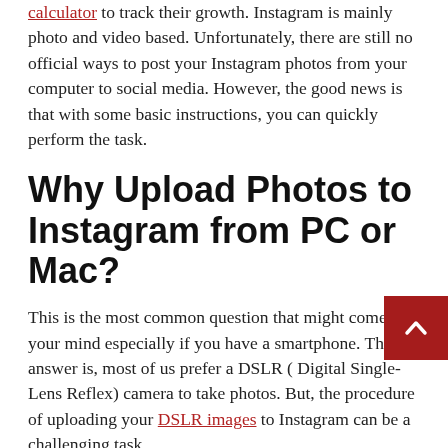calculator to track their growth. Instagram is mainly photo and video based. Unfortunately, there are still no official ways to post your Instagram photos from your computer to social media. However, the good news is that with some basic instructions, you can quickly perform the task.
Why Upload Photos to Instagram from PC or Mac?
This is the most common question that might come to your mind especially if you have a smartphone. The answer is, most of us prefer a DSLR ( Digital Single-Lens Reflex) camera to take photos. But, the procedure of uploading your DSLR images to Instagram can be a challenging task.
At first, you might have to save the photos to Google Drive or Google Photos. After that, edit the photos and